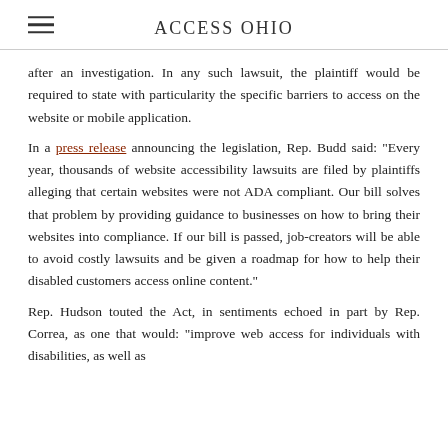ACCESS OHIO
after an investigation. In any such lawsuit, the plaintiff would be required to state with particularity the specific barriers to access on the website or mobile application.
In a press release announcing the legislation, Rep. Budd said: "Every year, thousands of website accessibility lawsuits are filed by plaintiffs alleging that certain websites were not ADA compliant. Our bill solves that problem by providing guidance to businesses on how to bring their websites into compliance. If our bill is passed, job-creators will be able to avoid costly lawsuits and be given a roadmap for how to help their disabled customers access online content."
Rep. Hudson touted the Act, in sentiments echoed in part by Rep. Correa, as one that would: "improve web access for individuals with disabilities, as well as